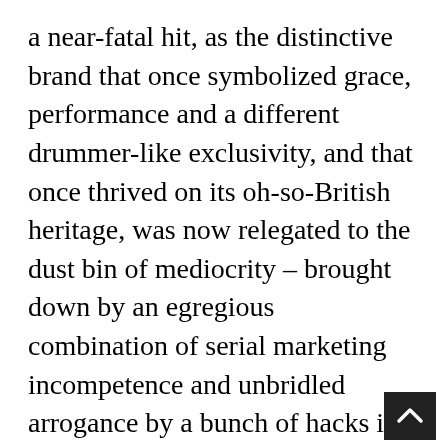a near-fatal hit, as the distinctive brand that once symbolized grace, performance and a different drummer-like exclusivity, and that once thrived on its oh-so-British heritage, was now relegated to the dust bin of mediocrity – brought down by an egregious combination of serial marketing incompetence and unbridled arrogance by a bunch of hacks in Dearborn who should have known better, but who clearly didn't have a clue.
Now, Ford is in the throes of a new marketing and product campaign designed